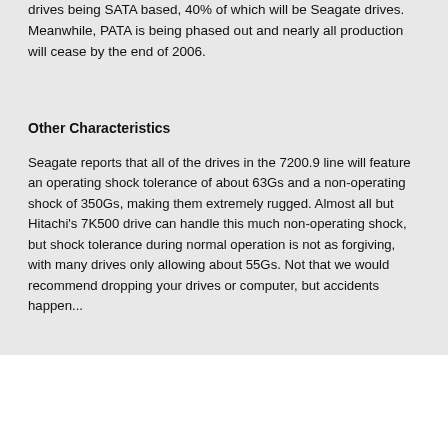drives being SATA based, 40% of which will be Seagate drives. Meanwhile, PATA is being phased out and nearly all production will cease by the end of 2006.
Other Characteristics
Seagate reports that all of the drives in the 7200.9 line will feature an operating shock tolerance of about 63Gs and a non-operating shock of 350Gs, making them extremely rugged. Almost all but Hitachi's 7K500 drive can handle this much non-operating shock, but shock tolerance during normal operation is not as forgiving, with many drives only allowing about 55Gs. Not that we would recommend dropping your drives or computer, but accidents happen...
Withstands Rugged Operating Environment
[Figure (bar-chart): Bar chart showing shock tolerance. A teal bar reaches approximately 350G. Legend shows '½ Terabyte – Industry leading shock'.]